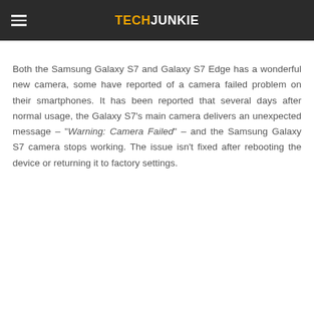TECHJUNKIE
Both the Samsung Galaxy S7 and Galaxy S7 Edge has a wonderful new camera, some have reported of a camera failed problem on their smartphones. It has been reported that several days after normal usage, the Galaxy S7's main camera delivers an unexpected message – "Warning: Camera Failed" – and the Samsung Galaxy S7 camera stops working. The issue isn't fixed after rebooting the device or returning it to factory settings.